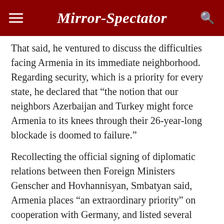Mirror-Spectator
That said, he ventured to discuss the difficulties facing Armenia in its immediate neighborhood. Regarding security, which is a priority for every state, he declared that “the notion that our neighbors Azerbaijan and Turkey might force Armenia to its knees through their 26-year-long blockade is doomed to failure.”
Recollecting the official signing of diplomatic relations between then Foreign Ministers Genscher and Hovhannisyan, Smbatyan said, Armenia places “an extraordinary priority” on cooperation with Germany, and listed several cornerstones: political relations are nurtured through high level visits and contacts in all